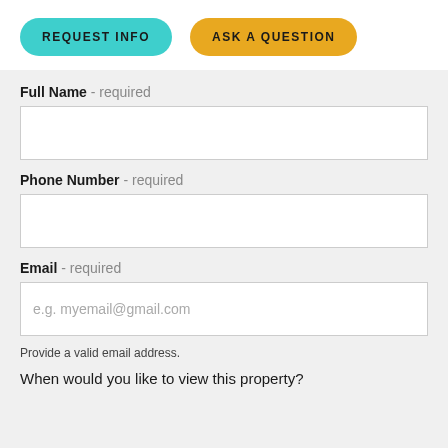REQUEST INFO
ASK A QUESTION
Full Name - required
Phone Number - required
Email - required
e.g. myemail@gmail.com
Provide a valid email address.
When would you like to view this property?